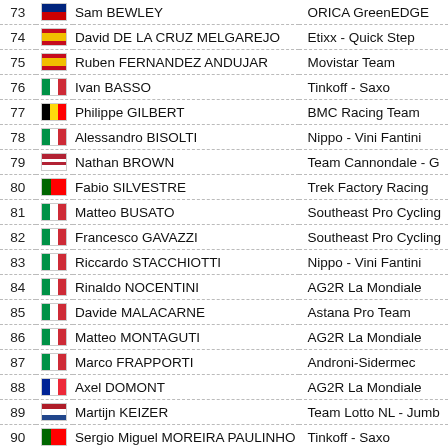| # | Flag | Name | Team |
| --- | --- | --- | --- |
| 73 | NZL | Sam BEWLEY | ORICA GreenEDGE |
| 74 | ESP | David DE LA CRUZ MELGAREJO | Etixx - Quick Step |
| 75 | ESP | Ruben FERNANDEZ ANDUJAR | Movistar Team |
| 76 | ITA | Ivan BASSO | Tinkoff - Saxo |
| 77 | BEL | Philippe GILBERT | BMC Racing Team |
| 78 | ITA | Alessandro BISOLTI | Nippo - Vini Fantini |
| 79 | USA | Nathan BROWN | Team Cannondale - G |
| 80 | POR | Fabio SILVESTRE | Trek Factory Racing |
| 81 | ITA | Matteo BUSATO | Southeast Pro Cycling |
| 82 | ITA | Francesco GAVAZZI | Southeast Pro Cycling |
| 83 | ITA | Riccardo STACCHIOTTI | Nippo - Vini Fantini |
| 84 | ITA | Rinaldo NOCENTINI | AG2R La Mondiale |
| 85 | ITA | Davide MALACARNE | Astana Pro Team |
| 86 | ITA | Matteo MONTAGUTI | AG2R La Mondiale |
| 87 | ITA | Marco FRAPPORTI | Androni-Sidermec |
| 88 | FRA | Axel DOMONT | AG2R La Mondiale |
| 89 | NED | Martijn KEIZER | Team Lotto NL - Jumb |
| 90 | POR | Sergio Miguel MOREIRA PAULINHO | Tinkoff - Saxo |
| 91 | ITA | Roberto FERRARI | Lampre - Merida |
| 92 | POL | Maciej PATERSKI | CCC Sprandi Polkowic |
| 93 | RUS | Sergey CHERNETSKIY | Team Katusha |
| 94 | ESP | Mikel NIEVE ITURRALDE | Team Sky |